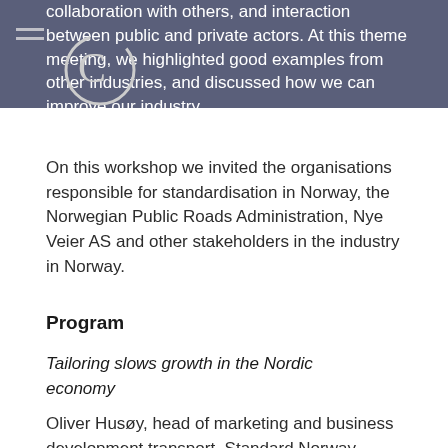collaboration with others, and interaction between public and private actors. At this theme meeting, we highlighted good examples from other industries, and discussed how we can improve our industry.
On this workshop we invited the organisations responsible for standardisation in Norway, the Norwegian Public Roads Administration, Nye Veier AS and other stakeholders in the industry in Norway.
Program
Tailoring slows growth in the Nordic economy
Oliver Husøy, head of marketing and business development transport, Standard Norway